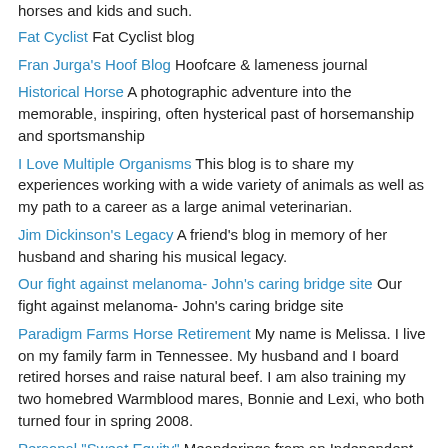horses and kids and such.
Fat Cyclist Fat Cyclist blog
Fran Jurga's Hoof Blog Hoofcare & lameness journal
Historical Horse A photographic adventure into the memorable, inspiring, often hysterical past of horsemanship and sportsmanship
I Love Multiple Organisms This blog is to share my experiences working with a wide variety of animals as well as my path to a career as a large animal veterinarian.
Jim Dickinson's Legacy A friend's blog in memory of her husband and sharing his musical legacy.
Our fight against melanoma- John's caring bridge site Our fight against melanoma- John's caring bridge site
Paradigm Farms Horse Retirement My name is Melissa. I live on my family farm in Tennessee. My husband and I board retired horses and raise natural beef. I am also training my two homebred Warmblood mares, Bonnie and Lexi, who both turned four in spring 2008.
Personal "Sweat Equity" Meanderings from an Independent Beachbody Coach about fitness and nutrition.
Rainbows & Mourning Doves My Blog about coping with John's death and remembering his life